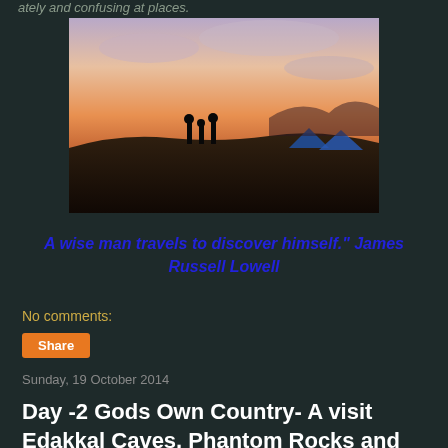ately and confusing at places.
[Figure (photo): Silhouettes of people standing on a hilltop at sunset with tents visible on the right, orange and pink sky in background]
A wise man travels to discover himself." James Russell Lowell
No comments:
Share
Sunday, 19 October 2014
Day -2 Gods Own Country- A visit Edakkal Caves, Phantom Rocks and Soochipura